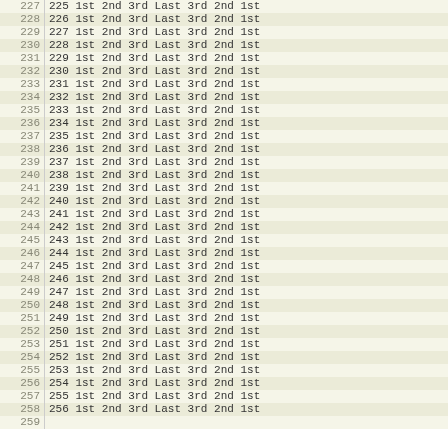| 227 | 225 1st 2nd 3rd Last 3rd 2nd 1st |
| 228 | 226 1st 2nd 3rd Last 3rd 2nd 1st |
| 229 | 227 1st 2nd 3rd Last 3rd 2nd 1st |
| 230 | 228 1st 2nd 3rd Last 3rd 2nd 1st |
| 231 | 229 1st 2nd 3rd Last 3rd 2nd 1st |
| 232 | 230 1st 2nd 3rd Last 3rd 2nd 1st |
| 233 | 231 1st 2nd 3rd Last 3rd 2nd 1st |
| 234 | 232 1st 2nd 3rd Last 3rd 2nd 1st |
| 235 | 233 1st 2nd 3rd Last 3rd 2nd 1st |
| 236 | 234 1st 2nd 3rd Last 3rd 2nd 1st |
| 237 | 235 1st 2nd 3rd Last 3rd 2nd 1st |
| 238 | 236 1st 2nd 3rd Last 3rd 2nd 1st |
| 239 | 237 1st 2nd 3rd Last 3rd 2nd 1st |
| 240 | 238 1st 2nd 3rd Last 3rd 2nd 1st |
| 241 | 239 1st 2nd 3rd Last 3rd 2nd 1st |
| 242 | 240 1st 2nd 3rd Last 3rd 2nd 1st |
| 243 | 241 1st 2nd 3rd Last 3rd 2nd 1st |
| 244 | 242 1st 2nd 3rd Last 3rd 2nd 1st |
| 245 | 243 1st 2nd 3rd Last 3rd 2nd 1st |
| 246 | 244 1st 2nd 3rd Last 3rd 2nd 1st |
| 247 | 245 1st 2nd 3rd Last 3rd 2nd 1st |
| 248 | 246 1st 2nd 3rd Last 3rd 2nd 1st |
| 249 | 247 1st 2nd 3rd Last 3rd 2nd 1st |
| 250 | 248 1st 2nd 3rd Last 3rd 2nd 1st |
| 251 | 249 1st 2nd 3rd Last 3rd 2nd 1st |
| 252 | 250 1st 2nd 3rd Last 3rd 2nd 1st |
| 253 | 251 1st 2nd 3rd Last 3rd 2nd 1st |
| 254 | 252 1st 2nd 3rd Last 3rd 2nd 1st |
| 255 | 253 1st 2nd 3rd Last 3rd 2nd 1st |
| 256 | 254 1st 2nd 3rd Last 3rd 2nd 1st |
| 257 | 255 1st 2nd 3rd Last 3rd 2nd 1st |
| 258 | 256 1st 2nd 3rd Last 3rd 2nd 1st |
| 259 | ... |